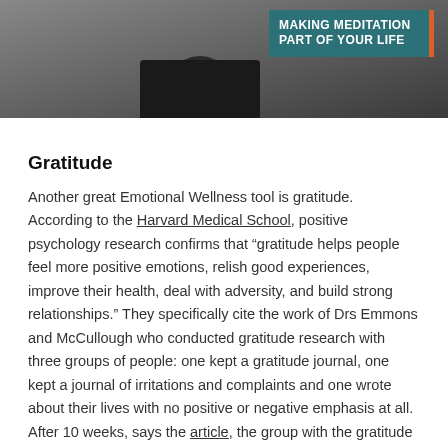[Figure (photo): A person in dark clothing partially visible against a grey background, with a teal banner overlay in the upper right reading 'MAKING MEDITATION PART OF YOUR LIFE' with an orange accent bar on the right edge.]
Gratitude
Another great Emotional Wellness tool is gratitude. According to the Harvard Medical School, positive psychology research confirms that “gratitude helps people feel more positive emotions, relish good experiences, improve their health, deal with adversity, and build strong relationships.” They specifically cite the work of Drs Emmons and McCullough who conducted gratitude research with three groups of people: one kept a gratitude journal, one kept a journal of irritations and complaints and one wrote about their lives with no positive or negative emphasis at all. After 10 weeks, says the article, the group with the gratitude journal felt happier, better